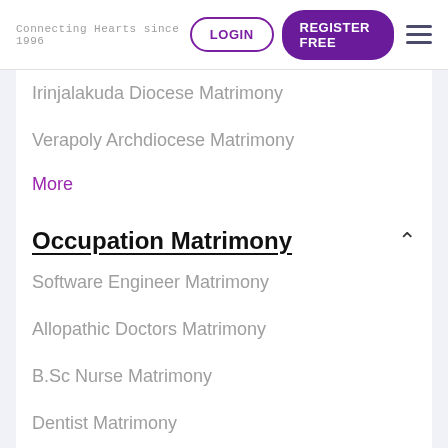Connecting Hearts since 1996 | LOGIN | REGISTER FREE
Irinjalakuda Diocese Matrimony
Verapoly Archdiocese Matrimony
More
Occupation Matrimony
Software Engineer Matrimony
Allopathic Doctors Matrimony
B.Sc Nurse Matrimony
Dentist Matrimony
More
Top
Malayalee Matrimony
Ernakulam Matrimony